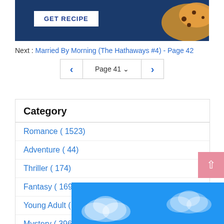[Figure (photo): Dark blue banner with a GET RECIPE button on the left and food (cookies/pastry) on the right.]
Next : Married By Morning (The Hathaways #4) - Page 42
Page 41 navigation with previous and next arrows
Category
Romance ( 1523)
Adventure ( 44)
Thriller ( 174)
Fantasy ( 1691)
Young Adult ( 859)
Mystery ( 396)
Histor...
[Figure (illustration): Blue sky with white clouds advertisement banner at the bottom of the page.]